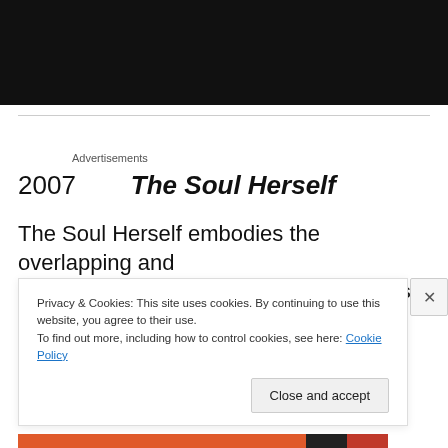[Figure (photo): Dark black/brown photograph area at the top of the page]
Advertisements
2007   The Soul Herself
The Soul Herself embodies the overlapping and interchanging patterns of voices in Reich's oeuvre. The all
Privacy & Cookies: This site uses cookies. By continuing to use this website, you agree to their use.
To find out more, including how to control cookies, see here: Cookie Policy
Close and accept